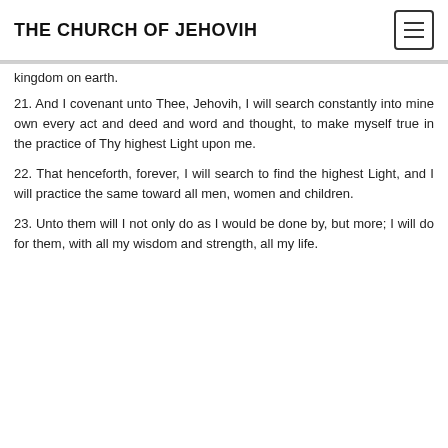THE CHURCH OF JEHOVIH
kingdom on earth.
21. And I covenant unto Thee, Jehovih, I will search constantly into mine own every act and deed and word and thought, to make myself true in the practice of Thy highest Light upon me.
22. That henceforth, forever, I will search to find the highest Light, and I will practice the same toward all men, women and children.
23. Unto them will I not only do as I would be done by, but more; I will do for them, with all my wisdom and strength, all my life.